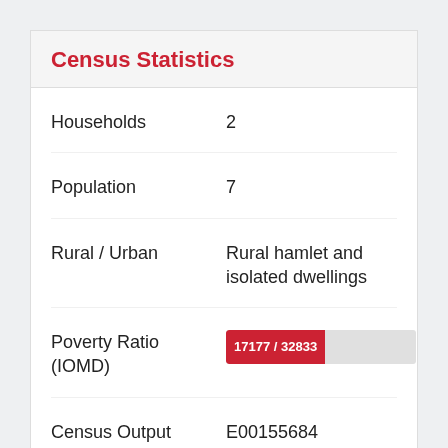Census Statistics
| Field | Value |
| --- | --- |
| Households | 2 |
| Population | 7 |
| Rural / Urban | Rural hamlet and isolated dwellings |
| Poverty Ratio (IOMD) | 17177 / 32833 |
| Census Output Area | E00155684 |